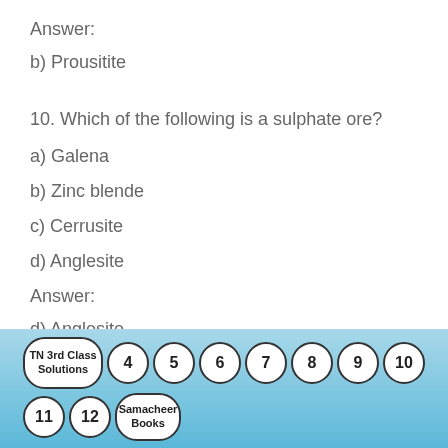Answer:
b) Prousitite
10. Which of the following is a sulphate ore?
a) Galena
b) Zinc blende
c) Cerrusite
d) Anglesite
Answer:
d) Anglesite
11. Non-metallic impurities, rocky materials, and
TN 3rd Class Solutions  4  5  6  7  8  9  10  11  12  Samacheer Books